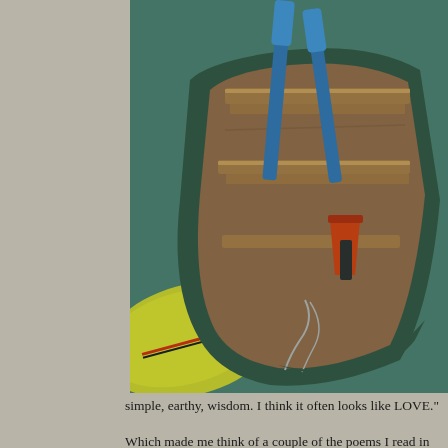[Figure (photo): Overhead view of a wooden rowboat with blue paddles and a red bucket, alongside a yellow kayak, floating on green water.]
last two blogs a reading this me flow from with sources.
The blogger ha Qoheleth mise life was beyon reactions were stay largely in much pain and people, the un God's purpose
But Karen (wis that space. She Original Blessi suggested in cl people you kno
simple, earthy, wisdom. I think it often looks like LOVE."
Which made me think of a couple of the poems I read in Daniel Ladi